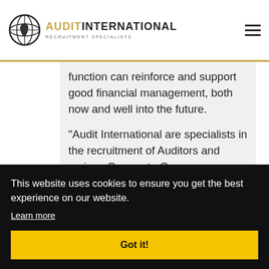[Figure (logo): Audit International logo with globe icon, gold 'AUDIT' and black 'INTERNATIONAL' text, 'RECRUITMENT SPECIALISTS' subtitle]
function can reinforce and support good financial management, both now and well into the future.
“Audit International are specialists in the recruitment of Auditors and various Corporate Governance Professionals including Internal Audit, Cyber Security, Compliance, IT Audit, Data Analytics etc.
This website uses cookies to ensure you get the best experience on our website.
Learn more
Got it!
– info@audit-international.com”